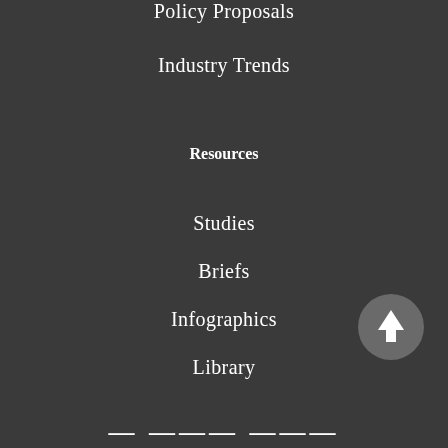Policy Proposals
Industry Trends
Resources
Studies
Briefs
Infographics
Library
[Figure (other): Scroll-to-top circular button with upward arrow icon]
[Figure (logo): Partial logo visible at bottom edge]